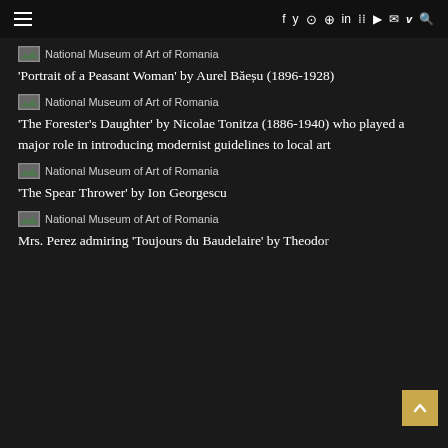National Museum of Art of Romania
[Figure (screenshot): Broken image placeholder with alt text: National Museum of Art of Romania]
'Portrait of a Peasant Woman' by Aurel Băeșu (1896-1928)
[Figure (screenshot): Broken image placeholder with alt text: National Museum of Art of Romania]
'The Forester's Daughter' by Nicolae Tonitza (1886-1940) who played a major role in introducing modernist guidelines to local art
[Figure (screenshot): Broken image placeholder with alt text: National Museum of Art of Romania]
'The Spear Thrower' by Ion Georgescu
[Figure (screenshot): Broken image placeholder with alt text: National Museum of Art of Romania]
Mrs. Perez admiring 'Toujours du Baudelaire' by Theodor Pallady (1871-1956) ...